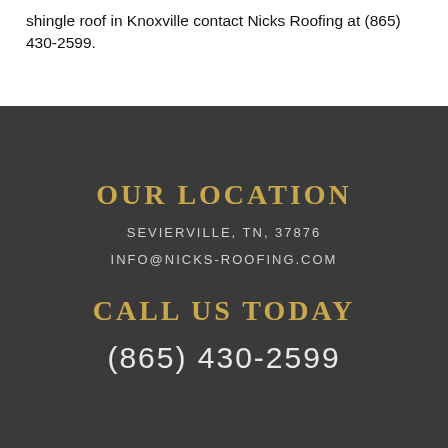shingle roof in Knoxville contact Nicks Roofing at (865) 430-2599.
OUR LOCATION
SEVIERVILLE, TN, 37876
INFO@NICKS-ROOFING.COM
CALL US TODAY
(865) 430-2599